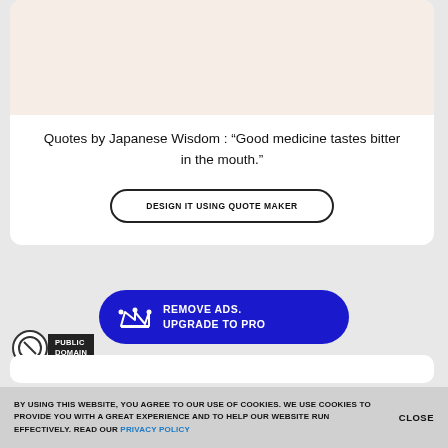[Figure (illustration): Beige/cream colored rectangular placeholder image area at top of card]
Quotes by Japanese Wisdom : “Good medicine tastes bitter in the mouth.”
DESIGN IT USING QUOTE MAKER
REMOVE ADS. UPGRADE TO PRO
[Figure (logo): Public Domain copyright badge with circular icon and black label]
BY USING THIS WEBSITE, YOU AGREE TO OUR USE OF COOKIES. WE USE COOKIES TO PROVIDE YOU WITH A GREAT EXPERIENCE AND TO HELP OUR WEBSITE RUN EFFECTIVELY. READ OUR PRIVACY POLICY
CLOSE